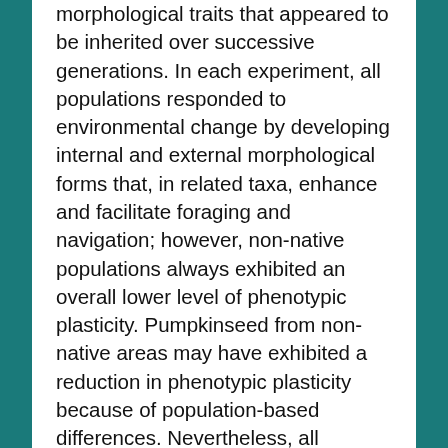morphological traits that appeared to be inherited over successive generations. In each experiment, all populations responded to environmental change by developing internal and external morphological forms that, in related taxa, enhance and facilitate foraging and navigation; however, non-native populations always exhibited an overall lower level of phenotypic plasticity. Pumpkinseed from non-native areas may have exhibited a reduction in phenotypic plasticity because of population-based differences. Nevertheless, all Pumpkinseed populations studied were capable of exhibiting phenotypic plasticity to novel environmental conditions, and develop morphological characteristics that may enhance fitness and